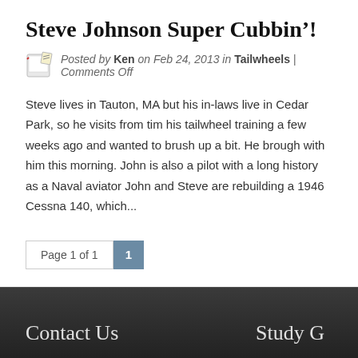Steve Johnson Super Cubbin'!
Posted by Ken on Feb 24, 2013 in Tailwheels | Comments Off
Steve lives in Tauton, MA but his in-laws live in Cedar Park, so he visits from time to time. He completed his tailwheel training a few weeks ago and wanted to brush up a bit. He brought his brother John with him this morning. John is also a pilot with a long history as a Naval aviator. John and Steve are rebuilding a 1946 Cessna 140, which...
Page 1 of 1  1
Contact Us   Study G